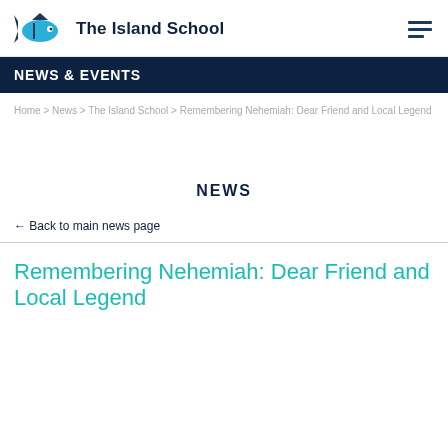The Island School
NEWS & EVENTS
Home > News > The Island School > Remembering Nehemiah: Dear Friend and Local Legend
NEWS
← Back to main news page
Remembering Nehemiah: Dear Friend and Local Legend